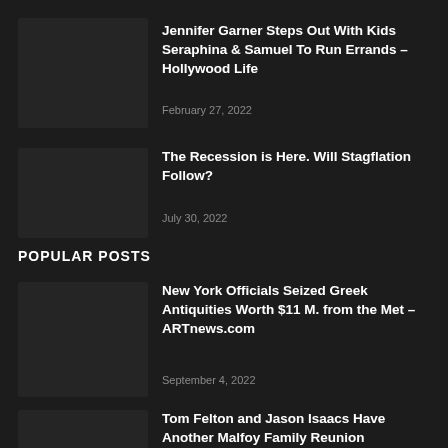[Figure (photo): Thumbnail image placeholder for Jennifer Garner article]
Jennifer Garner Steps Out With Kids Seraphina & Samuel To Run Errands – Hollywood Life
February 27, 2022
[Figure (photo): Thumbnail image placeholder for Recession/Stagflation article]
The Recession is Here. Will Stagflation Follow?
July 30, 2022
POPULAR POSTS
[Figure (photo): Thumbnail image placeholder for New York Officials article]
New York Officials Seized Greek Antiquities Worth $11 M. from the Met – ARTnews.com
September 4, 2022
[Figure (photo): Thumbnail image placeholder for Tom Felton article]
Tom Felton and Jason Isaacs Have Another Malfoy Family Reunion